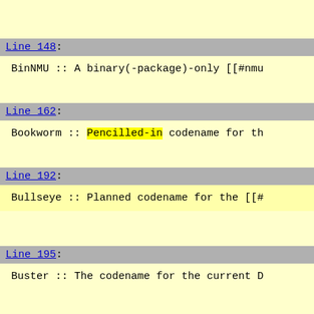Line 148: BinNMU :: A binary(-package)-only [[#nmu
Line 162: Bookworm :: Pencilled-in codename for th
Line 192: Bullseye :: Planned codename for the [[#
Line 195: Buster :: The codename for the current D